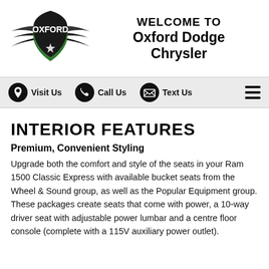[Figure (logo): Oxford Dodge Chrysler shield logo with wings and green emblem]
WELCOME TO Oxford Dodge Chrysler
Visit Us  Call Us  Text Us
INTERIOR FEATURES
Premium, Convenient Styling
Upgrade both the comfort and style of the seats in your Ram 1500 Classic Express with available bucket seats from the Wheel & Sound group, as well as the Popular Equipment group. These packages create seats that come with power, a 10-way driver seat with adjustable power lumbar and a centre floor console (complete with a 115V auxiliary power outlet).